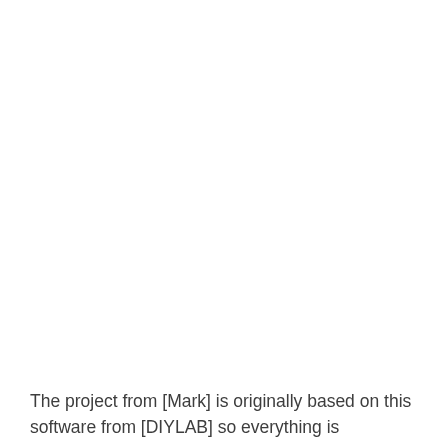The project from [Mark] is originally based on this software from [DIYLAB] so everything is